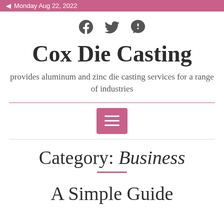Monday Aug 22, 2022
[Figure (other): Social media icons: Facebook, Twitter, Skype]
Cox Die Casting
provides aluminum and zinc die casting services for a range of industries
Category: Business
A Simple Guide